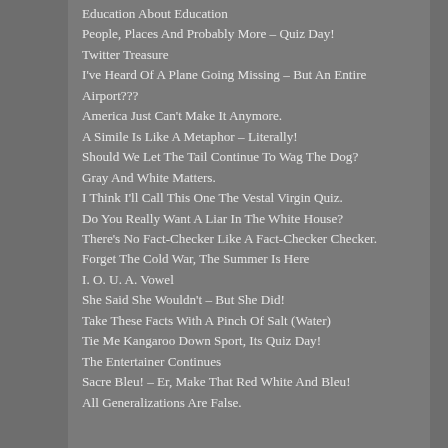Education About Education
People, Places And Probably More – Quiz Day!
Twitter Treasure
I've Heard Of A Plane Going Missing – But An Entire Airport???
America Just Can't Make It Anymore.
A Simile Is Like A Metaphor – Literally!
Should We Let The Tail Continue To Wag The Dog?
Gray And White Matters.
I Think I'll Call This One The Vestal Virgin Quiz.
Do You Really Want A Liar In The White House?
There's No Fact-Checker Like A Fact-Checker Checker.
Forget The Cold War, The Summer Is Here
I. O. U. A. Vowel
She Said She Wouldn't – But She Did!
Take These Facts With A Pinch Of Salt (Water)
Tie Me Kangaroo Down Sport, Its Quiz Day!
The Entertainer Continues
Sacre Bleu! – Er, Make That Red White And Bleu!
All Generalizations Are False.